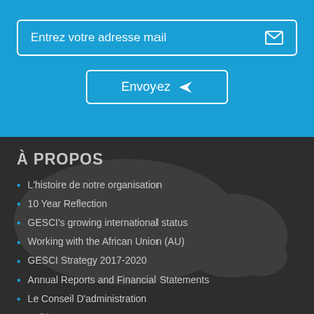Entrez votre adresse mail
Envoyez
À PROPOS
L'histoire de notre organisation
10 Year Reflection
GESCI's growing international status
Working with the African Union (AU)
GESCI Strategy 2017-2020
Annual Reports and Financial Statements
Le Conseil D'administration
Politiques
Team
Work with Us/Tenders